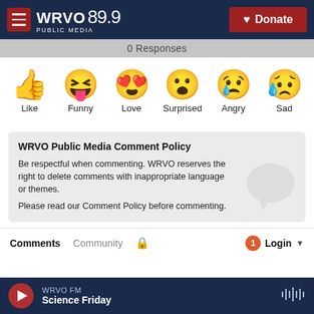WRVO PUBLIC MEDIA 89.9 | Donate
0 Responses
[Figure (infographic): Six emoji reaction icons in a row: thumbs up (Like), laughing face with tongue (Funny), heart-eyes face (Love), surprised face (Surprised), crying/angry face (Angry), crying sad face (Sad)]
WRVO Public Media Comment Policy
Be respectful when commenting. WRVO reserves the right to delete comments with inappropriate language or themes.
Please read our Comment Policy before commenting.
Comments   Community   🔒   1   Login
WRVO FM  Science Friday